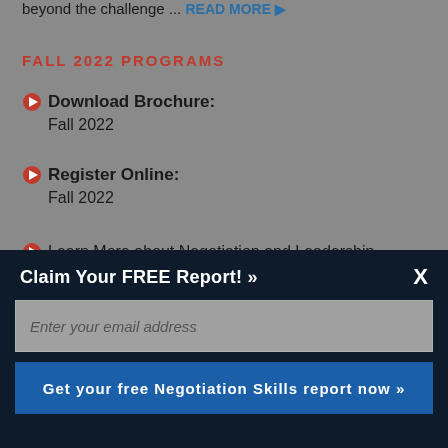beyond the challenge ... READ MORE ▶
FALL 2022 PROGRAMS
Download Brochure: Fall 2022
Register Online: Fall 2022
Learn More about Negotiation and Leadership
NOVEMBER 2022 HARVARD NEGOTIATION MASTER CLASS
Claim Your FREE Report! »
Enter your email address
Get your free Negotiation Skills report now »